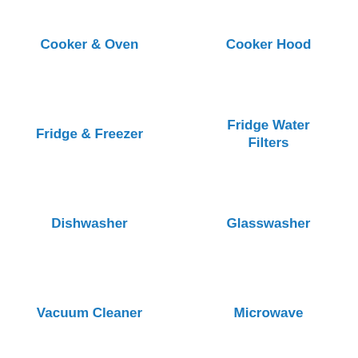Cooker & Oven
Cooker Hood
Fridge & Freezer
Fridge Water Filters
Dishwasher
Glasswasher
Vacuum Cleaner
Microwave